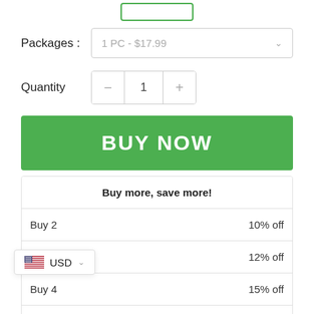[Figure (screenshot): Green outlined input box at top of page (partial, cropped)]
Packages :
1 PC - $17.99
Quantity
— 1 +
BUY NOW
| Buy more, save more! |  |
| --- | --- |
| Buy 2 | 10% off |
| Buy 3 | 12% off |
| Buy 4 | 15% off |
| Buy 5 | 18% off |
USD